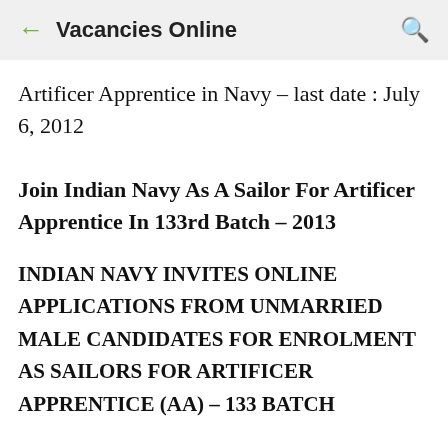← Vacancies Online 🔍
Artificer Apprentice in Navy – last date : July 6, 2012
Join Indian Navy As A Sailor For Artificer Apprentice In 133rd Batch – 2013
INDIAN NAVY INVITES ONLINE APPLICATIONS FROM UNMARRIED MALE CANDIDATES FOR ENROLMENT AS SAILORS FOR ARTIFICER APPRENTICE (AA) – 133 BATCH